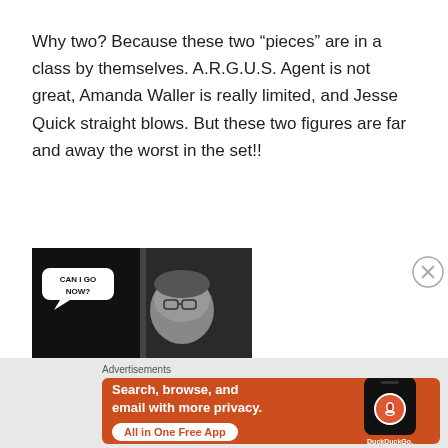Why two? Because these two “pieces” are in a class by themselves. A.R.G.U.S. Agent is not great, Amanda Waller is really limited, and Jesse Quick straight blows. But these two figures are far and away the worst in the set!!
[Figure (illustration): Comic-style black and white image of a figure peeking around a corner with a speech bubble saying 'CAN I GO NOW?']
Advertisements
[Figure (screenshot): DuckDuckGo advertisement banner with orange background. Text: 'Search, browse, and email with more privacy. All in One Free App' with DuckDuckGo logo on a phone mockup.]